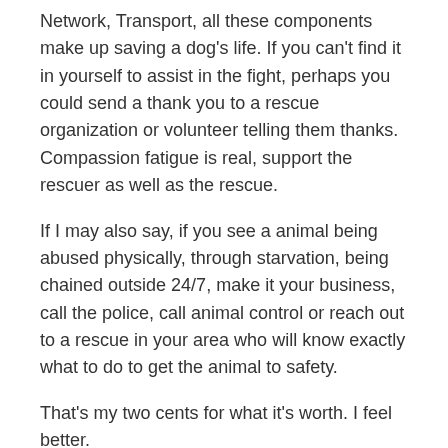Network, Transport, all these components make up saving a dog's life. If you can't find it in yourself to assist in the fight, perhaps you could send a thank you to a rescue organization or volunteer telling them thanks. Compassion fatigue is real, support the rescuer as well as the rescue.
If I may also say, if you see a animal being abused physically, through starvation, being chained outside 24/7, make it your business, call the police, call animal control or reach out to a rescue in your area who will know exactly what to do to get the animal to safety.
That’s my two cents for what it’s worth. I feel better.
Rate this:
[Figure (other): 4 filled stars and 1 empty star rating widget with info icon, followed by '1 Votes' text]